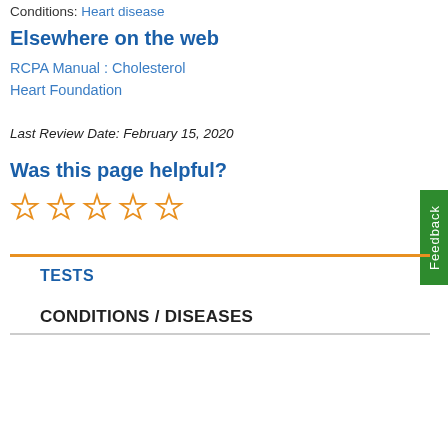Conditions: Heart disease
Elsewhere on the web
RCPA Manual : Cholesterol
Heart Foundation
Last Review Date: February 15, 2020
Was this page helpful?
[Figure (other): Five empty star rating icons in orange]
TESTS
CONDITIONS / DISEASES